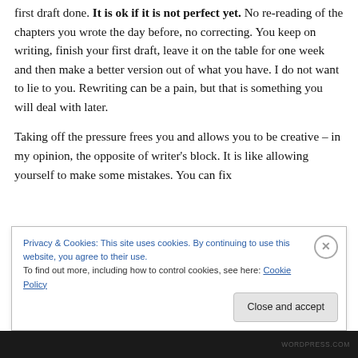first draft done. It is ok if it is not perfect yet. No re-reading of the chapters you wrote the day before, no correcting. You keep on writing, finish your first draft, leave it on the table for one week and then make a better version out of what you have. I do not want to lie to you. Rewriting can be a pain, but that is something you will deal with later.
Taking off the pressure frees you and allows you to be creative – in my opinion, the opposite of writer's block. It is like allowing yourself to make some mistakes. You can fix
Privacy & Cookies: This site uses cookies. By continuing to use this website, you agree to their use.
To find out more, including how to control cookies, see here: Cookie Policy